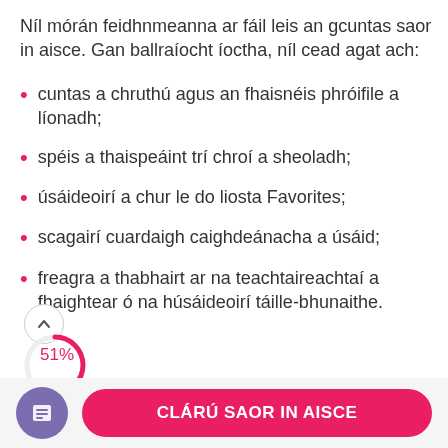Níl mórán feidhnmeanna ar fáil leis an gcuntas saor in aisce. Gan ballraíocht íoctha, níl cead agat ach:
cuntas a chruthú agus an fhaisnéis phróifile a líonadh;
spéis a thaispeáint trí chroí a sheoladh;
úsáideoirí a chur le do liosta Favorites;
scagairí cuardaigh caighdeánacha a úsáid;
freagra a thabhairt ar na teachtaireachtaí a fhaightear ó na húsáideoirí táille-bhunaithe.
[Figure (infographic): Progress ring showing 51% with an upward chevron button above it]
Ballraíocht Íoctha
CLÁRÚ SAOR IN AISCE